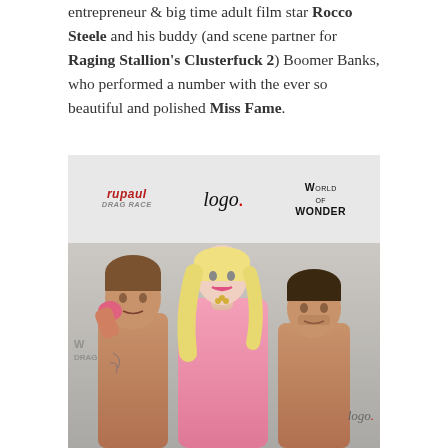entrepreneur & big time adult film star Rocco Steele and his buddy (and scene partner for Raging Stallion's Clusterfuck 2) Boomer Banks, who performed a number with the ever so beautiful and polished Miss Fame.
[Figure (photo): Three people posing in front of a step-and-repeat banner featuring RuPaul's Drag Race, Logo, and World of Wonder logos. Center person is a tall blonde drag queen in pink. Two shirtless men flank her on either side.]